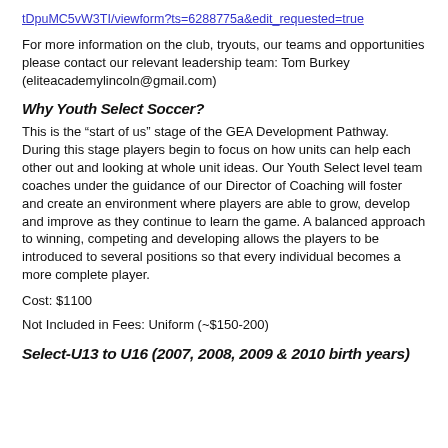tDpuMC5vW3TI/viewform?ts=6288775a&edit_requested=true
For more information on the club, tryouts, our teams and opportunities please contact our relevant leadership team: Tom Burkey (eliteacademylincoln@gmail.com)
Why Youth Select Soccer?
This is the “start of us” stage of the GEA Development Pathway. During this stage players begin to focus on how units can help each other out and looking at whole unit ideas. Our Youth Select level team coaches under the guidance of our Director of Coaching will foster and create an environment where players are able to grow, develop and improve as they continue to learn the game. A balanced approach to winning, competing and developing allows the players to be introduced to several positions so that every individual becomes a more complete player.
Cost: $1100
Not Included in Fees: Uniform (~$150-200)
Select-U13 to U16 (2007, 2008, 2009 & 2010 birth years)